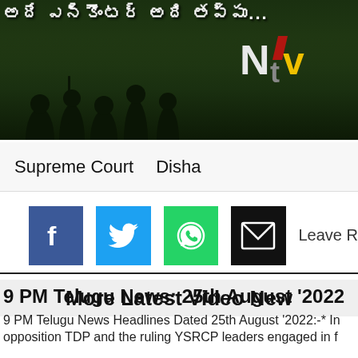[Figure (screenshot): NTV Telugu news channel banner with Telugu text at top and NTV logo, showing dark outdoor scene with silhouetted figures]
Supreme Court   Disha
[Figure (infographic): Social media share buttons: Facebook (blue f), Twitter (blue bird), WhatsApp (green phone), Email (black envelope), and Leave R text]
More Latest Video New
9 PM Telugu News: 25th August '2022
9 PM Telugu News Headlines Dated 25th August '2022:-* In opposition TDP and the ruling YSRCP leaders engaged in f